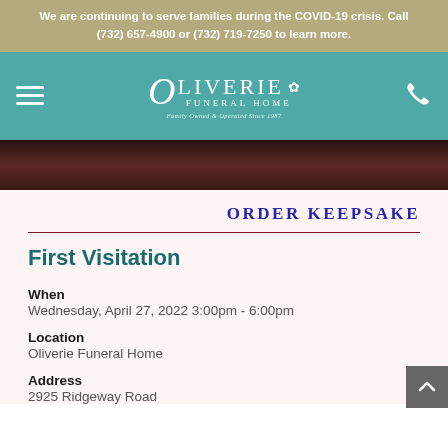We are continuing to serve families during the COVID-19 crisis. Call (732) 657-4900 or (732) 719-7250 to learn more.
[Figure (logo): Oliverie Funeral Home logo with decorative O, floral motif, subtitle 'Funeral Home', tagline 'Family Owned & Operated Since 1987' on teal navigation bar with hamburger menu and phone icon]
[Figure (photo): Dark photograph strip, brown/maroon tones, partially visible]
ORDER KEEPSAKE
First Visitation
When
Wednesday, April 27, 2022 3:00pm - 6:00pm
Location
Oliverie Funeral Home
Address
2925 Ridgeway Road